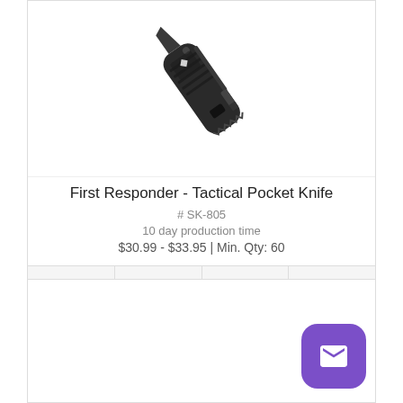[Figure (photo): A black tactical folding pocket knife with serrated blade and textured handle shown diagonally]
First Responder - Tactical Pocket Knife
# SK-805
10 day production time
$30.99 - $33.95 | Min. Qty: 60
[Figure (other): Action bar with four icon buttons: shopping cart, email envelope, info circle, and list/menu icon]
[Figure (other): Second product card partially visible at bottom of page with purple mail FAB button]